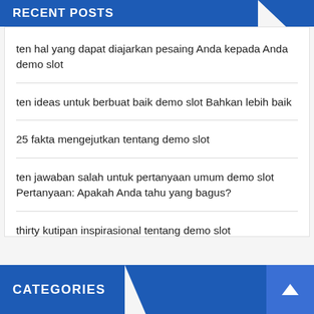RECENT POSTS
ten hal yang dapat diajarkan pesaing Anda kepada Anda demo slot
ten ideas untuk berbuat baik demo slot Bahkan lebih baik
25 fakta mengejutkan tentang demo slot
ten jawaban salah untuk pertanyaan umum demo slot Pertanyaan: Apakah Anda tahu yang bagus?
thirty kutipan inspirasional tentang demo slot
CATEGORIES